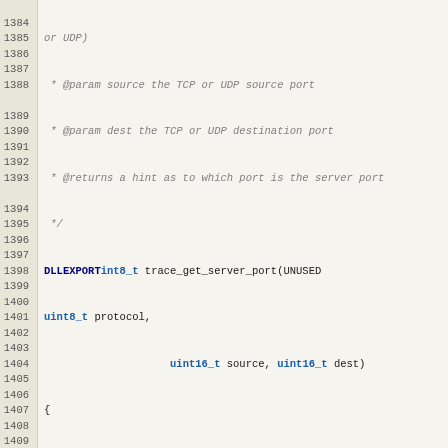[Figure (screenshot): Source code listing showing C code for trace_get_server_port function, lines 1384-1412, with line numbers on the left in a beige gutter and code on the right with syntax highlighting]